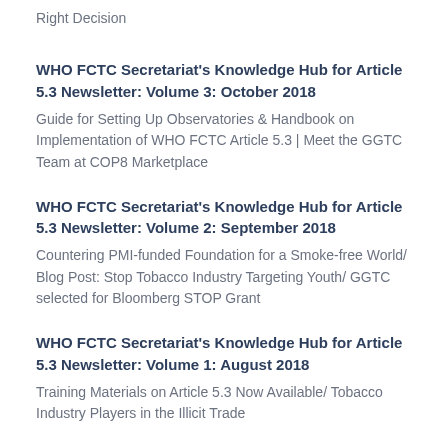Right Decision
WHO FCTC Secretariat's Knowledge Hub for Article 5.3 Newsletter: Volume 3: October 2018
Guide for Setting Up Observatories & Handbook on Implementation of WHO FCTC Article 5.3 | Meet the GGTC Team at COP8 Marketplace
WHO FCTC Secretariat's Knowledge Hub for Article 5.3 Newsletter: Volume 2: September 2018
Countering PMI-funded Foundation for a Smoke-free World/ Blog Post: Stop Tobacco Industry Targeting Youth/ GGTC selected for Bloomberg STOP Grant
WHO FCTC Secretariat's Knowledge Hub for Article 5.3 Newsletter: Volume 1: August 2018
Training Materials on Article 5.3 Now Available/ Tobacco Industry Players in the Illicit Trade